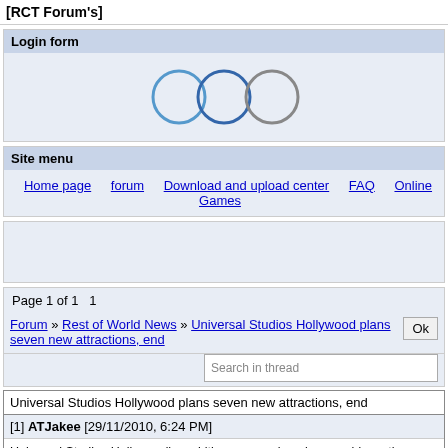[RCT Forum's]
Login form
[Figure (illustration): Three circles: two blue outlined circles and one gray outlined circle, representing loading or login state indicators]
Site menu
Home page   forum   Download and upload center   FAQ   Online Games
Page 1 of 1   1
Forum » Rest of World News » Universal Studios Hollywood plans seven new attractions, end
Search in thread
Universal Studios Hollywood plans seven new attractions, end
[1] ATJakee [29/11/2010, 6:24 PM]
Universal Studios Hollywood's ambitious expansion plans could see the addition of seven new attractions during the next 20 years, as well as the replacement of several old favorites.

The LA Times reports that the attractions due to be removed or replaced are Terminator 2: 3-D, the WaterWorld stunt show, the Special Effects Stage theater and several sets that feature in the park's famous Studio Tour. However, Universal also plans to add 146,000 square feet of new attractions, not including a dark ride based on the Transformers movies that is due to open in 2012.

The NBC Universal Evolution plan calls for the addition of a new residential community